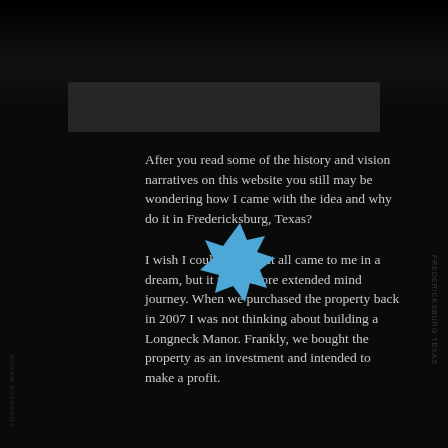[Figure (illustration): Dark background page from a website or document. A blue eight-pointed star badge overlays the text. There are dark image strips at the top and subtle sidebar elements.]
After you read some of the history and vision narratives on this website you still may be wondering how I came with the idea and why do it in Fredericksburg, Texas?
I wish I could just say it all came to me in a dream, but it was a more extended mind journey. When we purchased the property back in 2007 I was not thinking about building a Longneck Manor. Frankly, we bought the property as an investment and intended to make a profit.